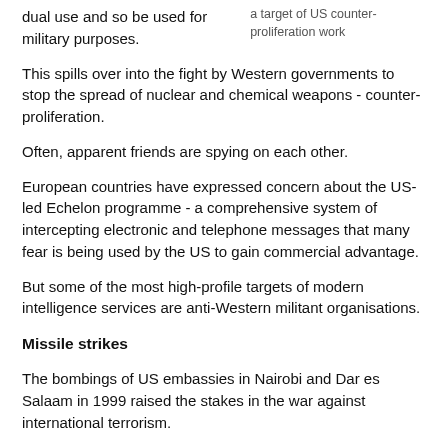dual use and so be used for military purposes.
a target of US counter-proliferation work
This spills over into the fight by Western governments to stop the spread of nuclear and chemical weapons - counter-proliferation.
Often, apparent friends are spying on each other.
European countries have expressed concern about the US-led Echelon programme - a comprehensive system of intercepting electronic and telephone messages that many fear is being used by the US to gain commercial advantage.
But some of the most high-profile targets of modern intelligence services are anti-Western militant organisations.
Missile strikes
The bombings of US embassies in Nairobi and Dar es Salaam in 1999 raised the stakes in the war against international terrorism.
Blame for the attacks was pinned on the Islamic fundamentalist Osama bin Laden and America's subsequent missile strikes on targets in Sudan and Afghanistan were, it is claimed, the result of its international intelligence operations.